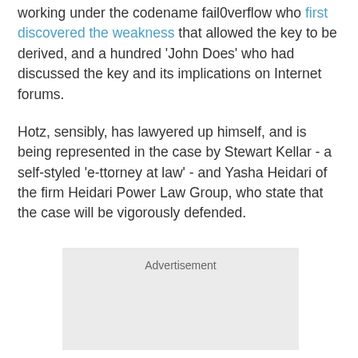working under the codename fail0verflow who first discovered the weakness that allowed the key to be derived, and a hundred 'John Does' who had discussed the key and its implications on Internet forums.
Hotz, sensibly, has lawyered up himself, and is being represented in the case by Stewart Kellar - a self-styled 'e-ttorney at law' - and Yasha Heidari of the firm Heidari Power Law Group, who state that the case will be vigorously defended.
[Figure (other): Advertisement placeholder box]